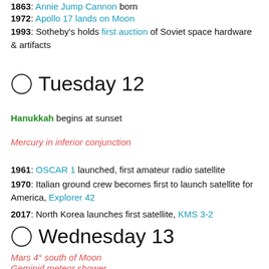1863: Annie Jump Cannon born
1972: Apollo 17 lands on Moon
1993: Sotheby's holds first auction of Soviet space hardware & artifacts
Tuesday 12
Hanukkah begins at sunset
Mercury in inferior conjunction
1961: OSCAR 1 launched, first amateur radio satellite
1970: Italian ground crew becomes first to launch satellite for America, Explorer 42
2017: North Korea launches first satellite, KMS 3-2
Wednesday 13
Mars 4° south of Moon
Geminid meteor shower